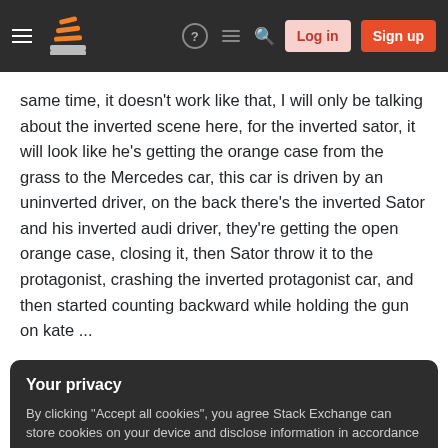Stack Exchange navigation bar with hamburger menu, logo, help, chat, search icons, Log in and Sign up buttons
same time, it doesn't work like that, I will only be talking about the inverted scene here, for the inverted sator, it will look like he's getting the orange case from the grass to the Mercedes car, this car is driven by an uninverted driver, on the back there's the inverted Sator and his inverted audi driver, they're getting the open orange case, closing it, then Sator throw it to the protagonist, crashing the inverted protagonist car, and then started counting backward while holding the gun on kate ...
Your privacy
By clicking "Accept all cookies", you agree Stack Exchange can store cookies on your device and disclose information in accordance with our Cookie Policy.
it's not actually shown, but the script says he finds they